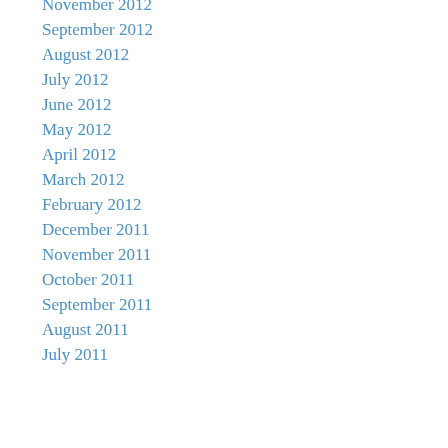November 2012
September 2012
August 2012
July 2012
June 2012
May 2012
April 2012
March 2012
February 2012
December 2011
November 2011
October 2011
September 2011
August 2011
July 2011